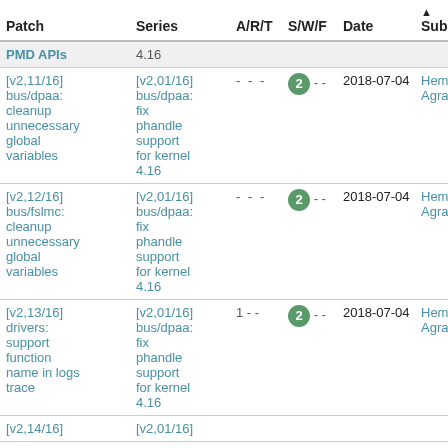| Patch | Series | A/R/T | S/W/F | Date | Submitter |
| --- | --- | --- | --- | --- | --- |
| PMD APIs | 4.16 |  |  |  |  |
| [v2,11/16] bus/dpaa: cleanup unnecessary global variables | [v2,01/16] bus/dpaa: fix phandle support for kernel 4.16 | - - - | 2 - - | 2018-07-04 | Hemant Agrawal |
| [v2,12/16] bus/fslmc: cleanup unnecessary global variables | [v2,01/16] bus/dpaa: fix phandle support for kernel 4.16 | - - - | 2 - - | 2018-07-04 | Hemant Agrawal |
| [v2,13/16] drivers: support function name in logs trace | [v2,01/16] bus/dpaa: fix phandle support for kernel 4.16 | 1 - - | 2 - - | 2018-07-04 | Hemant Agrawal |
| [v2,14/16] | [v2,01/16] |  |  |  |  |